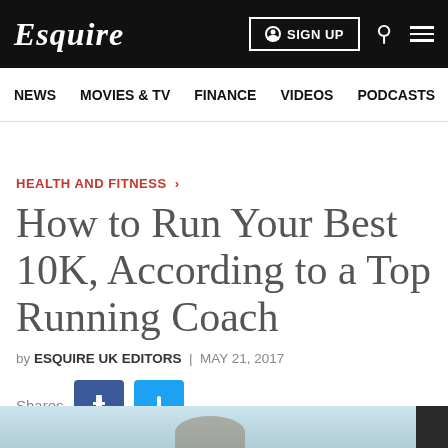Esquire | SIGN UP
NEWS  MOVIES & TV  FINANCE  VIDEOS  PODCASTS
HEALTH AND FITNESS >
How to Run Your Best 10K, According to a Top Running Coach
by ESQUIRE UK EDITORS | MAY 21, 2017
Shares